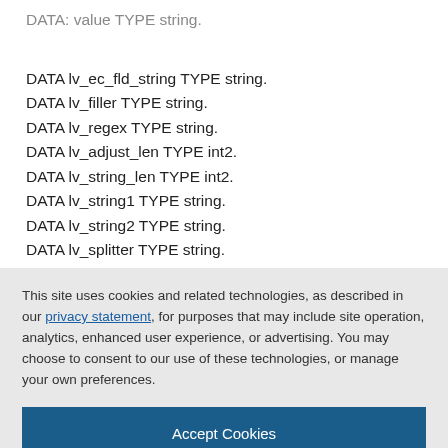DATA: value TYPE string.
DATA lv_ec_fld_string TYPE string.
DATA lv_filler TYPE string.
DATA lv_regex TYPE string.
DATA lv_adjust_len TYPE int2.
DATA lv_string_len TYPE int2.
DATA lv_string1 TYPE string.
DATA lv_string2 TYPE string.
DATA lv_splitter TYPE string.
DATA lv_masked_string TYPE char20.
This site uses cookies and related technologies, as described in our privacy statement, for purposes that may include site operation, analytics, enhanced user experience, or advertising. You may choose to consent to our use of these technologies, or manage your own preferences.
Accept Cookies
More Information
Privacy Policy | Powered by: TrustArc
*Second conversion Rule